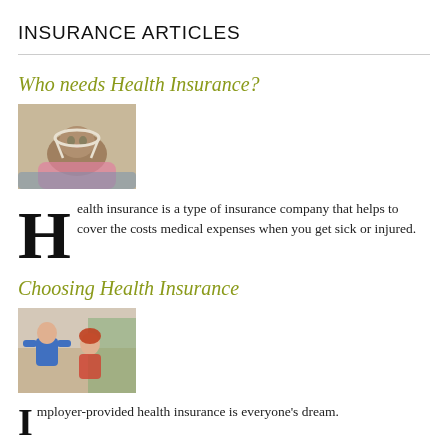INSURANCE ARTICLES
Who needs Health Insurance?
[Figure (photo): A cat wearing a medical cone collar, wrapped in a pink blanket, lying on a bed — representing pet/health insurance context.]
Health insurance is a type of insurance company that helps to cover the costs medical expenses when you get sick or injured.
Choosing Health Insurance
[Figure (photo): A child and woman (possibly mother and child) posing playfully indoors, representing family health insurance.]
mployer-provided health insurance is everyone's dream.